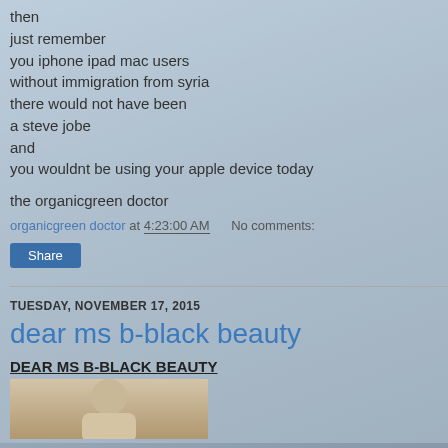then
just remember
you iphone ipad mac users
without immigration from syria
there would not have been
a steve jobe
and
you wouldnt be using your apple device today
the organicgreen doctor
organicgreen doctor at 4:23:00 AM   No comments:
Share
TUESDAY, NOVEMBER 17, 2015
dear ms b-black beauty
DEAR MS B-BLACK BEAUTY
[Figure (photo): Photo of a person, partially visible, appearing to sit in a light-colored setting]